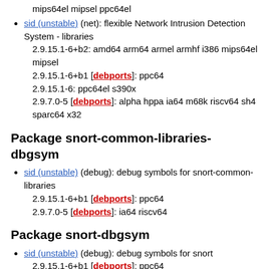mips64el mipsel ppc64el
sid (unstable) (net): flexible Network Intrusion Detection System - libraries
2.9.15.1-6+b2: amd64 arm64 armel armhf i386 mips64el mipsel
2.9.15.1-6+b1 [debports]: ppc64
2.9.15.1-6: ppc64el s390x
2.9.7.0-5 [debports]: alpha hppa ia64 m68k riscv64 sh4 sparc64 x32
Package snort-common-libraries-dbgsym
sid (unstable) (debug): debug symbols for snort-common-libraries
2.9.15.1-6+b1 [debports]: ppc64
2.9.7.0-5 [debports]: ia64 riscv64
Package snort-dbgsym
sid (unstable) (debug): debug symbols for snort
2.9.15.1-6+b1 [debports]: ppc64